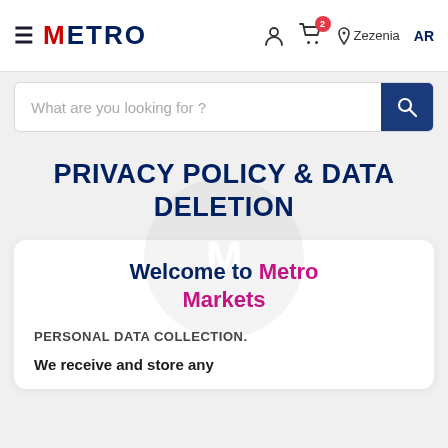METRO | Zezenia AR — navigation header with hamburger menu, user icon, cart (2 items), location (Zezenia), language (AR)
What are you looking for ?
PRIVACY POLICY & DATA DELETION
Welcome to Metro Markets
PERSONAL DATA COLLECTION.
We receive and store any